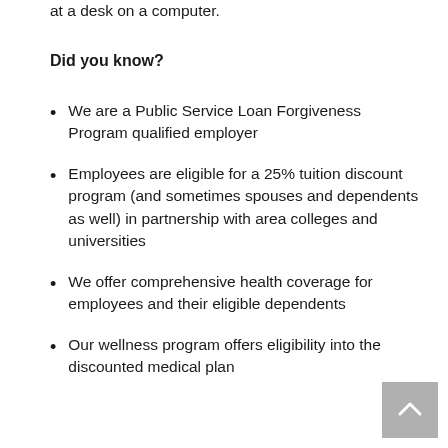at a desk on a computer.
Did you know?
We are a Public Service Loan Forgiveness Program qualified employer
Employees are eligible for a 25% tuition discount program (and sometimes spouses and dependents as well) in partnership with area colleges and universities
We offer comprehensive health coverage for employees and their eligible dependents
Our wellness program offers eligibility into the discounted medical plan